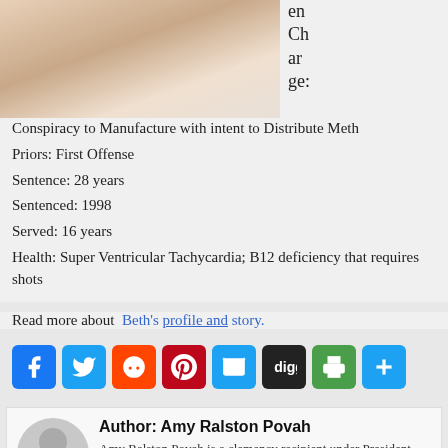[Figure (photo): Partial photo of a person in white clothing, upper torso/shoulder visible]
en Charge:
Conspiracy to Manufacture with intent to Distribute Meth
Priors: First Offense
Sentence: 28 years
Sentenced: 1998
Served: 16 years
Health: Super Ventricular Tachycardia; B12 deficiency that requires shots
Read more about Beth's profile and story.
[Figure (infographic): Social sharing buttons: Facebook, Twitter, Reddit, Pinterest, Email, Digg, Print, Share]
Author: Amy Ralston Povah
Amy Ralston Povah is a clemency recipient under President Clinton, an